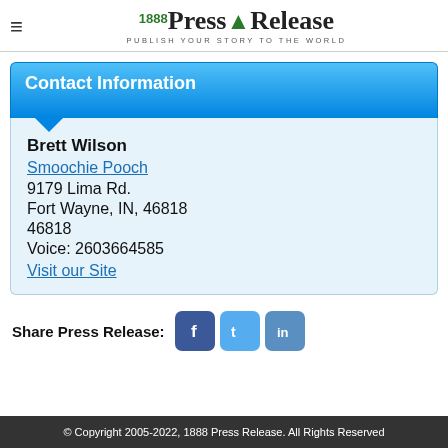1888 Press Release — PUBLISH YOUR STORY TO THE WORLD
Contact Information
Brett Wilson
Smoochie Pooch
9179 Lima Rd.
Fort Wayne, IN, 46818
46818
Voice: 2603664585
Visit our Site
Share Press Release:
© Copyright 2005-2022, 1888 Press Release. All Rights Reserved